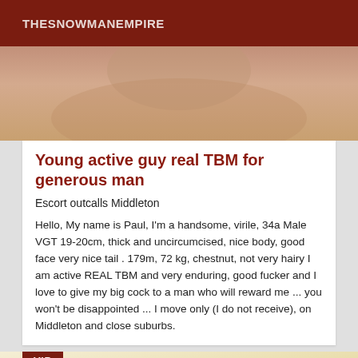THESNOWMANEMPIRE
[Figure (photo): Close-up photo of a person's torso/skin, warm beige/skin tones, partially cropped]
Young active guy real TBM for generous man
Escort outcalls Middleton
Hello, My name is Paul, I'm a handsome, virile, 34a Male VGT 19-20cm, thick and uncircumcised, nice body, good face very nice tail . 179m, 72 kg, chestnut, not very hairy I am active REAL TBM and very enduring, good fucker and I love to give my big cock to a man who will reward me ... you won't be disappointed ... I move only (I do not receive), on Middleton and close suburbs.
[Figure (photo): Interior room photo, light yellowish walls, bicycle illustration/artwork visible on wall, VIP badge overlay in top-left corner]